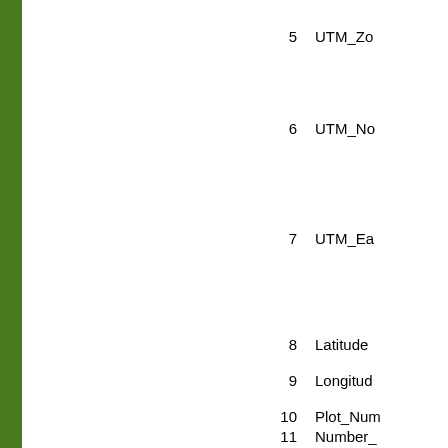5   UTM_Zo
6   UTM_No
7   UTM_Ea
8   Latitude
9   Longitud
10   Plot_Num
11   Number_